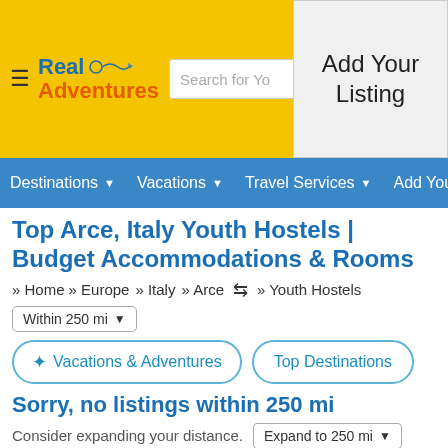Real Adventures — Search for Your Adventure — Add Your Listing
Destinations ▾  Vacations ▾  Travel Services ▾  Add Your Li...
Top Arce, Italy Youth Hostels | Budget Accommodations & Rooms
» Home  » Europe  » Italy  » Arce  ⇔  » Youth Hostels
Within 250 mi ▾
✦ Vacations & Adventures    Top Destinations
Sorry, no listings within 250 mi
Consider expanding your distance.  Expand to 250 mi ▾
— Vacations 1 - 20 of 20
Sort By  Featured ▾